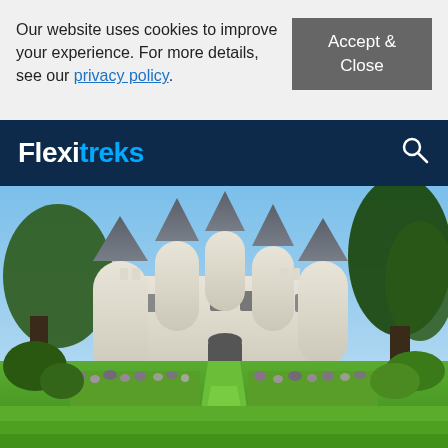Our website uses cookies to improve your experience. For more details, see our privacy policy.
Accept & Close
Flexitreks
[Figure (photo): A French Loire Valley château (castle) with conical grey towers, white stone walls, surrounded by manicured gardens with green lawn path and flower borders, large cedar trees in background, blue sky.]